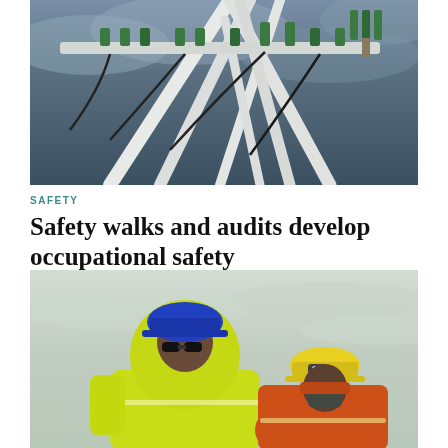[Figure (photo): Close-up of electrical transmission tower infrastructure with power line insulators and cables against a cloudy grey-blue sky]
SAFETY
Safety walks and audits develop occupational safety
[Figure (photo): Two workers in high-visibility yellow jackets and safety helmets (one blue, one yellow) working outdoors, looking downward at a task, against a pale overcast sky]